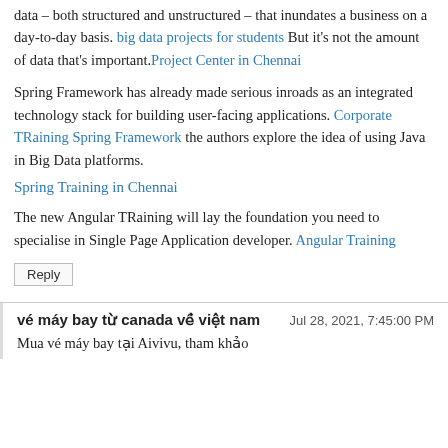data – both structured and unstructured – that inundates a business on a day-to-day basis. big data projects for students But it's not the amount of data that's important. Project Center in Chennai
Spring Framework has already made serious inroads as an integrated technology stack for building user-facing applications. Corporate TRaining Spring Framework the authors explore the idea of using Java in Big Data platforms.
Spring Training in Chennai
The new Angular TRaining will lay the foundation you need to specialise in Single Page Application developer. Angular Training
Reply
vé máy bay từ canada về việt nam
Jul 28, 2021, 7:45:00 PM
Mua vé máy bay tại Aivivu, tham khảo